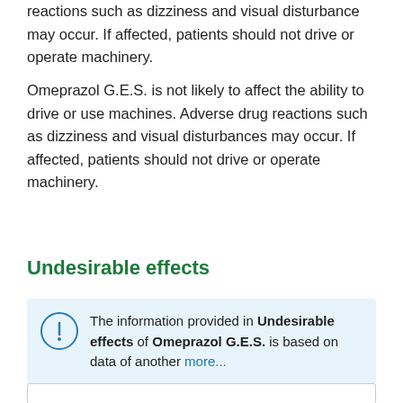reactions such as dizziness and visual disturbance may occur. If affected, patients should not drive or operate machinery.
Omeprazol G.E.S. is not likely to affect the ability to drive or use machines. Adverse drug reactions such as dizziness and visual disturbances may occur. If affected, patients should not drive or operate machinery.
Undesirable effects
The information provided in Undesirable effects of Omeprazol G.E.S. is based on data of another more...